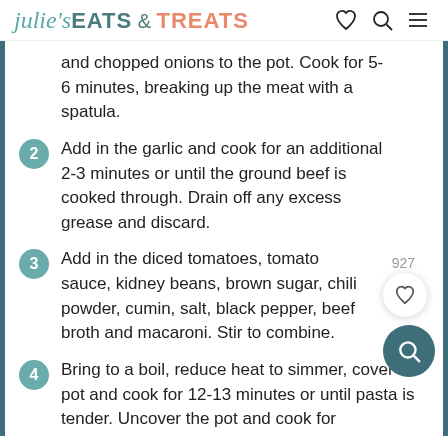julie's EATS & TREATS
and chopped onions to the pot. Cook for 5-6 minutes, breaking up the meat with a spatula.
2 Add in the garlic and cook for an additional 2-3 minutes or until the ground beef is cooked through. Drain off any excess grease and discard.
3 Add in the diced tomatoes, tomato sauce, kidney beans, brown sugar, chili powder, cumin, salt, black pepper, beef broth and macaroni. Stir to combine.
4 Bring to a boil, reduce heat to simmer, cover the pot and cook for 12-13 minutes or until pasta is tender. Uncover the pot and cook for